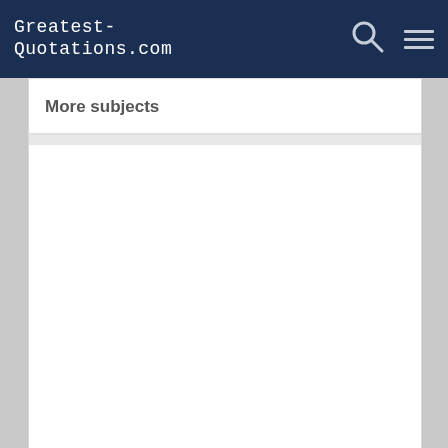Greatest-Quotations.com
More subjects